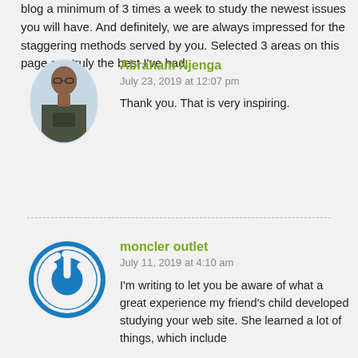blog a minimum of 3 times a week to study the newest issues you will have. And definitely, we are always impressed for the staggering methods served by you. Selected 3 areas on this page are truly the best I've had.
Abraham Njenga
July 23, 2019 at 12:07 pm
Thank you. That is very inspiring.
moncler outlet
July 11, 2019 at 4:10 am
I'm writing to let you be aware of what a great experience my friend's child developed studying your web site. She learned a lot of things, which include